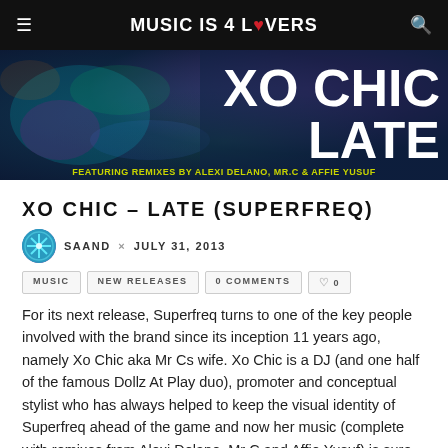MUSIC IS 4 LOVERS
[Figure (illustration): XO Chic - Late album banner with colorful abstract background, title 'XO CHIC LATE' in white bold text, subtitle 'FEATURING REMIXES BY ALEXI DELANO, MR.C & AFFIE YUSUF' in yellow-green text]
XO CHIC – LATE (SUPERFREQ)
SAAND × JULY 31, 2013
MUSIC
NEW RELEASES
0 COMMENTS
♡ 0
For its next release, Superfreq turns to one of the key people involved with the brand since its inception 11 years ago, namely Xo Chic aka Mr Cs wife. Xo Chic is a DJ (and one half of the famous Dollz At Play duo), promoter and conceptual stylist who has always helped to keep the visual identity of Superfreq ahead of the game and now her music (complete with remixes from Alexi Delano, Mr C and Affie Yusuf) is sure to do the same. The title is taken from the fact she is always late (very late), and the